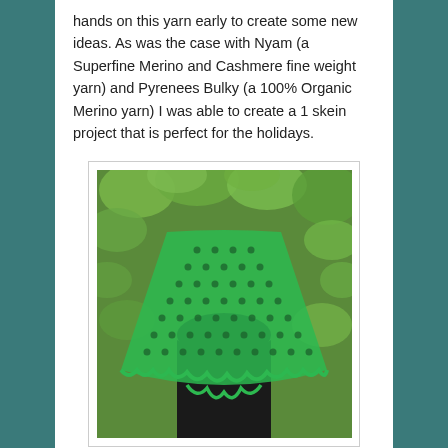hands on this yarn early to create some new ideas. As was the case with Nyam (a Superfine Merino and Cashmere fine weight yarn) and Pyrenees Bulky (a 100% Organic Merino yarn) I was able to create a 1 skein project that is perfect for the holidays.
[Figure (photo): A green lace knitted shawl worn on someone's head and back, photographed outdoors against green foliage. The triangular shawl has an open lace pattern with a scalloped border edge.]